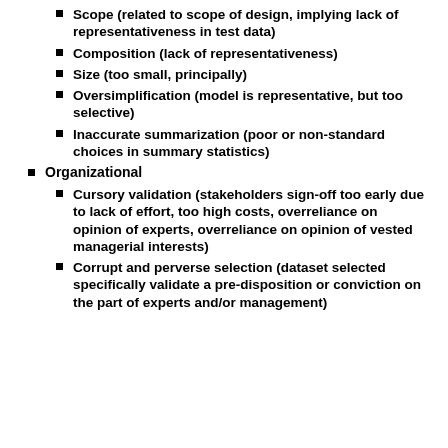Scope (related to scope of design, implying lack of representativeness in test data)
Composition (lack of representativeness)
Size (too small, principally)
Oversimplification (model is representative, but too selective)
Inaccurate summarization (poor or non-standard choices in summary statistics)
Organizational
Cursory validation (stakeholders sign-off too early due to lack of effort, too high costs, overreliance on opinion of experts, overreliance on opinion of vested managerial interests)
Corrupt and perverse selection (dataset selected specifically validate a pre-disposition or conviction on the part of experts and/or management)